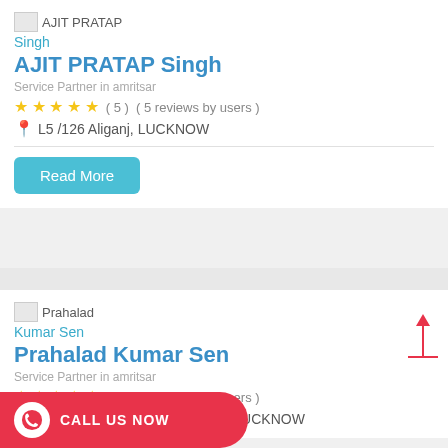[Figure (other): Broken image placeholder labeled AJIT PRATAP]
Singh
AJIT PRATAP Singh
Service Partner in amritsar
★ ★ ★ ★ ★ ( 5 )  ( 5 reviews by users )
L5 /126 Aliganj, LUCKNOW
Read More
[Figure (other): Broken image placeholder labeled Prahalad]
Kumar Sen
Prahalad Kumar Sen
Service Partner in amritsar
★ ★ ★ ★ ★ ( 5 )  ( 5 reviews by users )
37 Ramin Nagar Sitapur Road, LUCKNOW
CALL US NOW